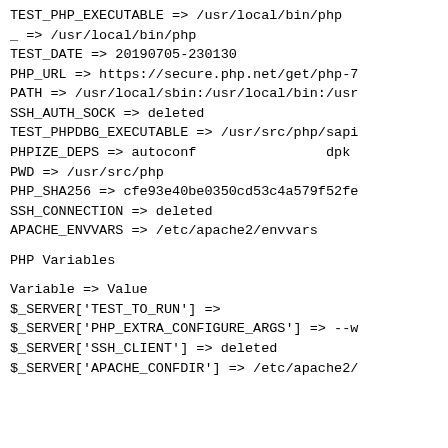TEST_PHP_EXECUTABLE => /usr/local/bin/php
_ => /usr/local/bin/php
TEST_DATE => 20190705-230130
PHP_URL => https://secure.php.net/get/php-7
PATH => /usr/local/sbin:/usr/local/bin:/usr
SSH_AUTH_SOCK => deleted
TEST_PHPDBG_EXECUTABLE => /usr/src/php/sapi
PHPIZE_DEPS => autoconf                    dpk
PWD => /usr/src/php
PHP_SHA256 => cfe93e40be0350cd53c4a579f52fe
SSH_CONNECTION => deleted
APACHE_ENVVARS => /etc/apache2/envvars
PHP Variables
Variable => Value
$_SERVER['TEST_TO_RUN'] =>
$_SERVER['PHP_EXTRA_CONFIGURE_ARGS'] => --w
$_SERVER['SSH_CLIENT'] => deleted
$_SERVER['APACHE_CONFDIR'] => /etc/apache2/